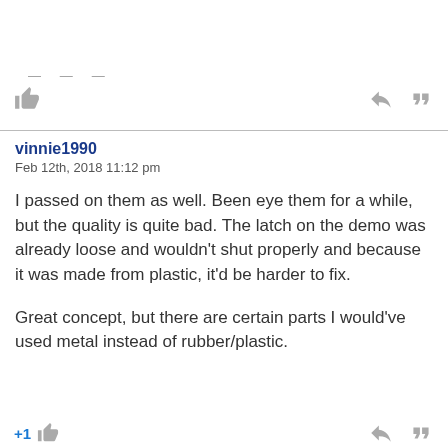— — —
vinnie1990
Feb 12th, 2018 11:12 pm

I passed on them as well. Been eye them for a while, but the quality is quite bad. The latch on the demo was already loose and wouldn't shut properly and because it was made from plastic, it'd be harder to fix.

Great concept, but there are certain parts I would've used metal instead of rubber/plastic.
+1